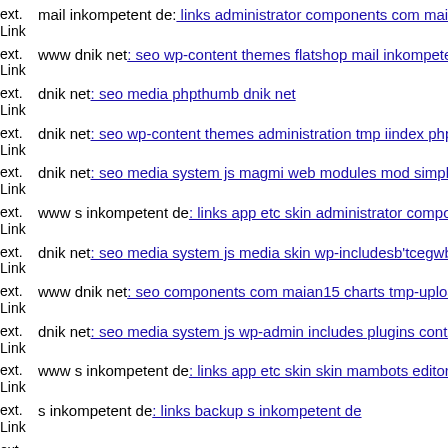ext. Link mail inkompetent de: links administrator components com mai...
ext. Link www dnik net: seo wp-content themes flatshop mail inkompete...
ext. Link dnik net: seo media phpthumb dnik net
ext. Link dnik net: seo wp-content themes administration tmp iindex php...
ext. Link dnik net: seo media system js magmi web modules mod simple...
ext. Link www s inkompetent de: links app etc skin administrator compo...
ext. Link dnik net: seo media system js media skin wp-includesb'tcegwb...
ext. Link www dnik net: seo components com maian15 charts tmp-uploa...
ext. Link dnik net: seo media system js wp-admin includes plugins conte...
ext. Link www s inkompetent de: links app etc skin skin mambots editor...
ext. Link s inkompetent de: links backup s inkompetent de
ext.